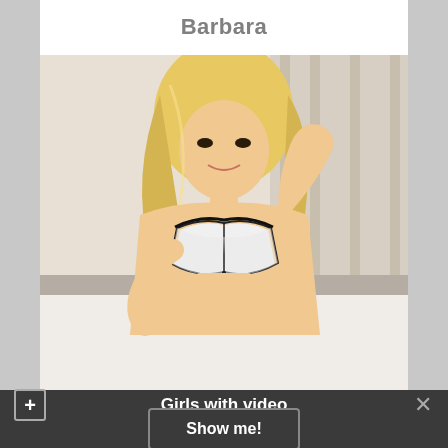Barbara
[Figure (photo): Blonde woman in black and white lingerie posing on a bed]
Girls with video
Show me!